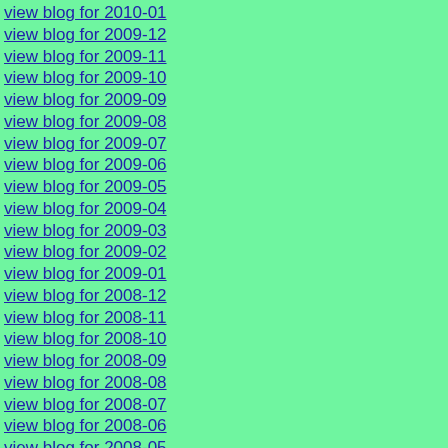view blog for 2010-01
view blog for 2009-12
view blog for 2009-11
view blog for 2009-10
view blog for 2009-09
view blog for 2009-08
view blog for 2009-07
view blog for 2009-06
view blog for 2009-05
view blog for 2009-04
view blog for 2009-03
view blog for 2009-02
view blog for 2009-01
view blog for 2008-12
view blog for 2008-11
view blog for 2008-10
view blog for 2008-09
view blog for 2008-08
view blog for 2008-07
view blog for 2008-06
view blog for 2008-05
view blog for 2008-04
view blog for 2008-03
view blog for 2008-02
view blog for 2008-01
view blog for 2007-12